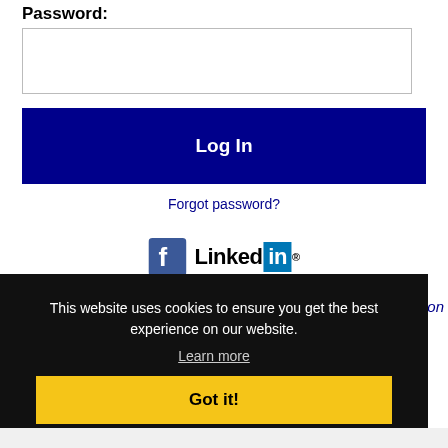Password:
[Figure (screenshot): Password input text field (empty)]
[Figure (screenshot): Log In button (dark navy blue)]
Forgot password?
[Figure (logo): Facebook logo icon and LinkedIn logo side by side]
This website uses cookies to ensure you get the best experience on our website.
Learn more
[Figure (screenshot): Got it! button (yellow)]